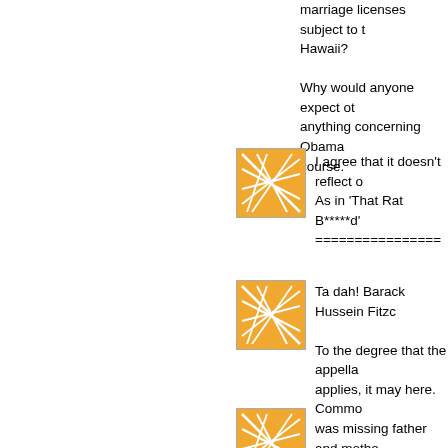marriage licenses subject to the laws of Hawaii?

Why would anyone expect otherwise? Did anything concerning Obama turn out right? Of course.
[Figure (illustration): Orange square avatar icon with white geometric line pattern]
I agree that it doesn't reflect d... As in 'That Rat B*****d'
================
[Figure (illustration): Orange square avatar icon with white geometric line pattern]
Ta dah! Barack Hussein Fitzg...

To the degree that the appella... applies, it may here. Commo... was missing father and mothe...
====================
[Figure (illustration): Orange square avatar icon with white geometric line pattern (partial)]